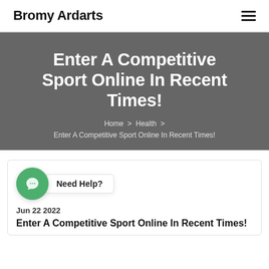Bromy Ardarts
Enter A Competitive Sport Online In Recent Times!
Home > Health > Enter A Competitive Sport Online In Recent Times!
Need Help?
Jun 22 2022
Enter A Competitive Sport Online In Recent Times!